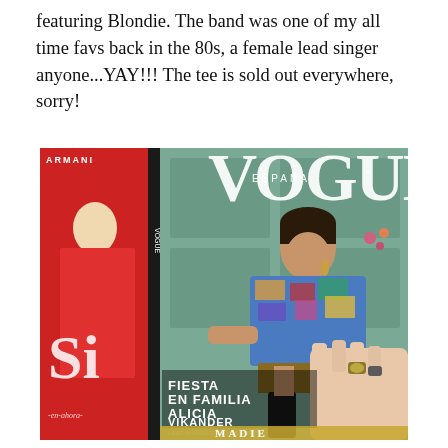featuring Blondie. The band was one of my all time favs back in the 80s, a female lead singer anyone...YAY!!! The tee is sold out everywhere, sorry!
[Figure (photo): A hand holds up a copy of Vogue España magazine featuring Alicia Vikander on the cover, wearing a colorful printed top and boots, seated in front of a green door. Behind it is a red Armani magazine cover showing a blonde woman. Text on the Vogue cover reads: FIESTA EN FAMILIA ALICIA VIKANDER and MADIE at the bottom.]